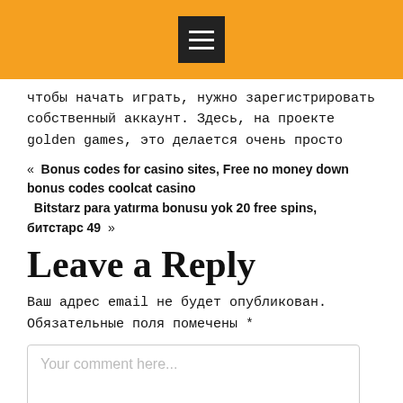[menu icon]
чтобы начать играть, нужно зарегистрировать собственный аккаунт. Здесь, на проекте golden games, это делается очень просто
« Bonus codes for casino sites, Free no money down bonus codes coolcat casino
  Bitstarz para yatırma bonusu yok 20 free spins, битстарс 49 »
Leave a Reply
Ваш адрес email не будет опубликован. Обязательные поля помечены *
Your comment here...